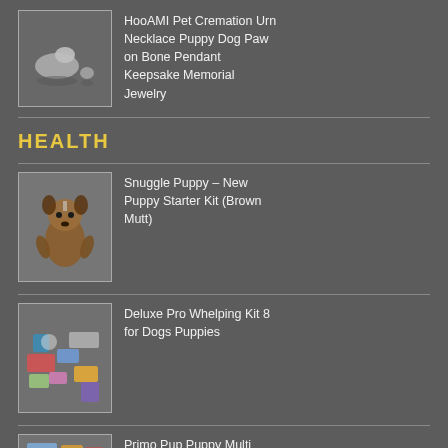[Figure (photo): Silver dog-shaped cremation urn pendant and small silver bone charm on dark background]
HooAMI Pet Cremation Urn Necklace Puppy Dog Paw on Bone Pendant Keepsake Memorial Jewelry
HEALTH
[Figure (photo): Brown stuffed animal snuggle puppy toy hanging]
Snuggle Puppy – New Puppy Starter Kit (Brown Mutt)
[Figure (photo): Deluxe whelping kit with various medical and puppy care supplies spread out]
Deluxe Pro Whelping Kit 8 for Dogs Puppies
[Figure (photo): Primo Pup Puppy Multi product image]
Primo Pup Puppy Multi